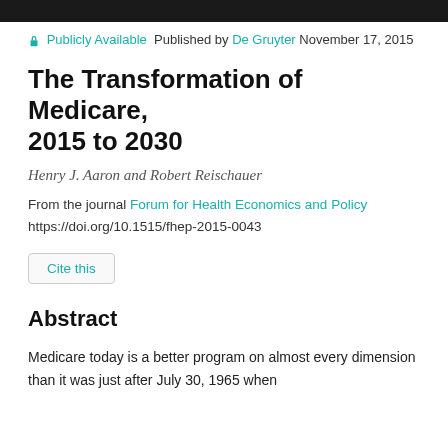🔓 Publicly Available  Published by De Gruyter  November 17, 2015
The Transformation of Medicare, 2015 to 2030
Henry J. Aaron and Robert Reischauer
From the journal Forum for Health Economics and Policy
https://doi.org/10.1515/fhep-2015-0043
Cite this
Abstract
Medicare today is a better program on almost every dimension than it was just after July 30, 1965 when